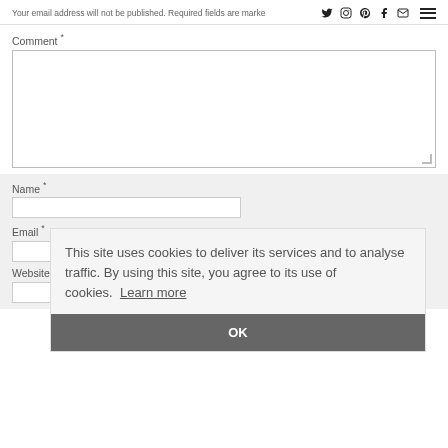Your email address will not be published. Required fields are marked
Comment *
[Figure (screenshot): Comment text area input box]
Name *
[Figure (screenshot): Name input field]
Email *
[Figure (screenshot): Email input field]
Website
[Figure (screenshot): Website input field]
This site uses cookies to deliver its services and to analyse traffic. By using this site, you agree to its use of cookies. Learn more
OK